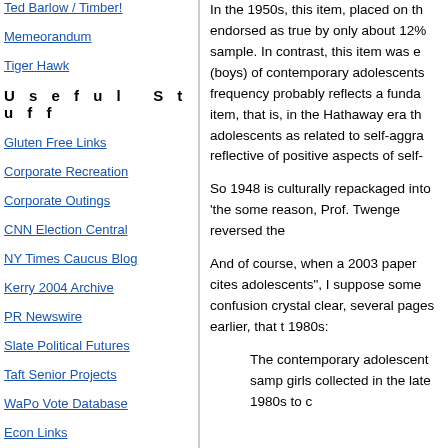Ted Barlow / Timber!
Memeorandum
Tiger Hawk
U s e f u l   S t u f f
Gluten Free Links
Corporate Recreation
Corporate Outings
CNN Election Central
NY Times Caucus Blog
Kerry 2004 Archive
PR Newswire
Slate Political Futures
Taft Senior Projects
WaPo Vote Database
Econ Links
LexisNexis News
In the 1950s, this item, placed on th... endorsed as true by only about 12% sample. In contrast, this item was e (boys) of contemporary adolescents frequency probably reflects a funda item, that is, in the Hathaway era th adolescents as related to self-aggra reflective of positive aspects of self-
So 1948 is culturally repackaged into 'the... some reason, Prof. Twenge reversed the
And of course, when a 2003 paper cites adolescents", I suppose some confusion crystal clear, several pages earlier, that t 1980s:
The contemporary adolescent samp girls collected in the late 1980s to c